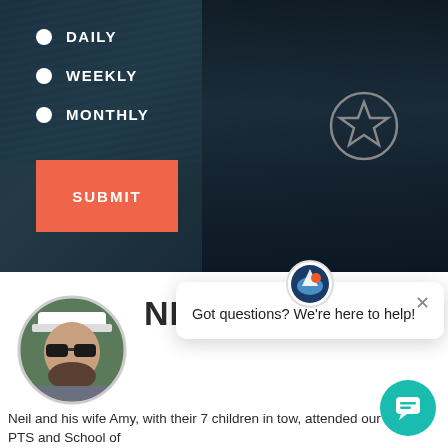[Figure (screenshot): Hero section with dark background showing water and a person in a navy jacket with a star badge. Contains radio buttons for DAILY, WEEKLY, MONTHLY and an orange SUBMIT button.]
DAILY
WEEKLY
MONTHLY
SUBMIT
[Figure (photo): Round profile photo of Neil Greb, a bearded man wearing sunglasses and a white cap]
NEIL GREB
Got questions? We're here to help!
Neil and his wife Amy, with their 7 children in tow, attended our Family PTS and School of